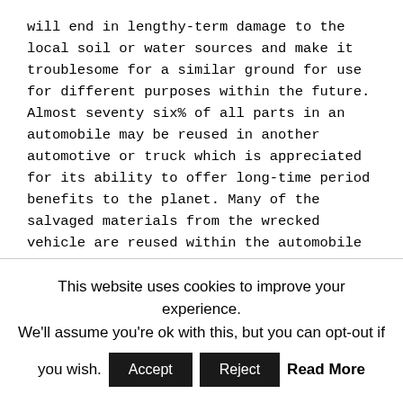will end in lengthy-term damage to the local soil or water sources and make it troublesome for a similar ground for use for different purposes within the future. Almost seventy six% of all parts in an automobile may be reused in another automotive or truck which is appreciated for its ability to offer long-time period benefits to the planet. Many of the salvaged materials from the wrecked vehicle are reused within the automobile industry. For example, rubber sourced from an old vehicle will be recycled and used within the production of floor mats, gas pedals, and tires.
Earn a profit
This website uses cookies to improve your experience. We'll assume you're ok with this, but you can opt-out if you wish.